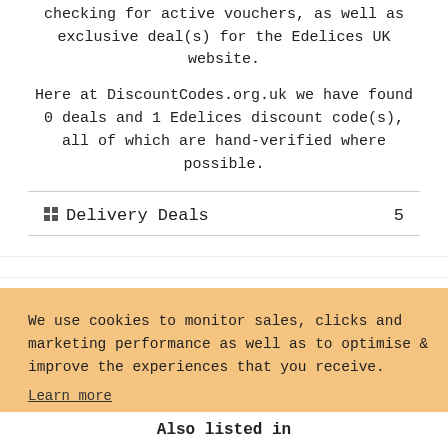checking for active vouchers, as well as exclusive deal(s) for the Edelices UK website.
Here at DiscountCodes.org.uk we have found 0 deals and 1 Edelices discount code(s), all of which are hand-verified where possible.
|  |  |
| --- | --- |
| 🔲 Delivery Deals | 5 |
We use cookies to monitor sales, clicks and marketing performance as well as to optimise & improve the experiences that you receive.
Learn more
GOT IT!
Also listed in